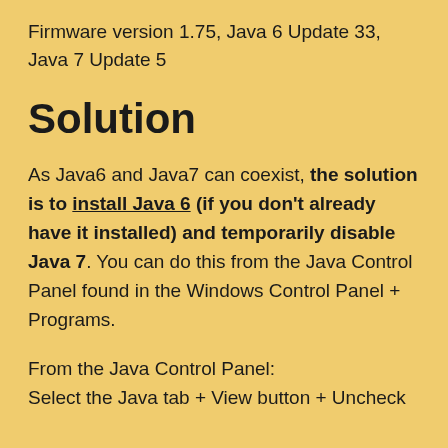Firmware version 1.75, Java 6 Update 33, Java 7 Update 5
Solution
As Java6 and Java7 can coexist, the solution is to install Java 6 (if you don't already have it installed) and temporarily disable Java 7. You can do this from the Java Control Panel found in the Windows Control Panel + Programs.
From the Java Control Panel:
Select the Java tab + View button + Uncheck